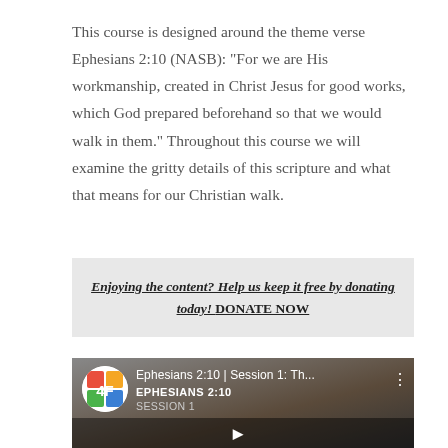This course is designed around the theme verse Ephesians 2:10 (NASB): “For we are His workmanship, created in Christ Jesus for good works, which God prepared beforehand so that we would walk in them.” Throughout this course we will examine the gritty details of this scripture and what that means for our Christian walk.
Enjoying the content? Help us keep it free by donating today! DONATE NOW
[Figure (screenshot): YouTube video thumbnail for 'Ephesians 2:10 | Session 1: Th...' showing the E4F logo, video title, subtitle EPHESIANS 2:10 SESSION 1, and a crowd background image with a play button partially visible at the bottom.]